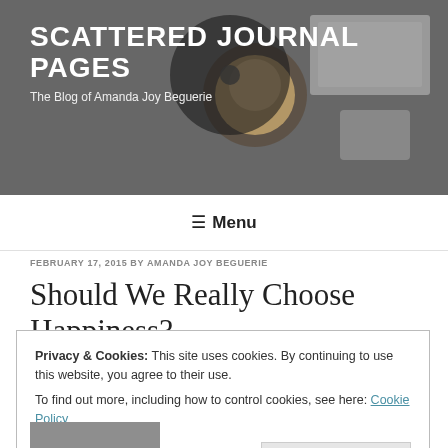SCATTERED JOURNAL PAGES
The Blog of Amanda Joy Beguerie
Menu
FEBRUARY 17, 2015 BY AMANDA JOY BEGUERIE
Should We Really Choose Happiness?
Privacy & Cookies: This site uses cookies. By continuing to use this website, you agree to their use.
To find out more, including how to control cookies, see here: Cookie Policy
Close and accept
[Figure (photo): Partial bottom photo strip, appears to show a person in black and white]